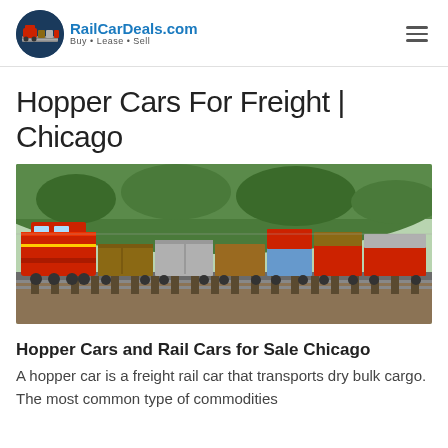RailCarDeals.com • Buy • Lease • Sell
Hopper Cars For Freight | Chicago
[Figure (photo): A red freight train locomotive pulling a long line of intermodal container cars on a rail track, with green trees and hillside in the background.]
Hopper Cars and Rail Cars for Sale Chicago
A hopper car is a freight rail car that transports dry bulk cargo. The most common type of commodities